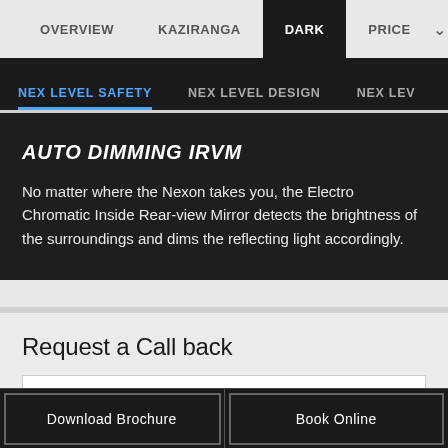OVERVIEW  KAZIRANGA  DARK  PRICE  ∨
NEX LEVEL SAFETY  NEX LEVEL DESIGN  NEX LEV
AUTO DIMMING IRVM
No matter where the Nexon takes you, the Electro Chromatic Inside Rear-view Mirror detects the brightness of the surroundings and dims the reflecting light accordingly.
Request a Call back
NAME
Download Brochure  Book Online